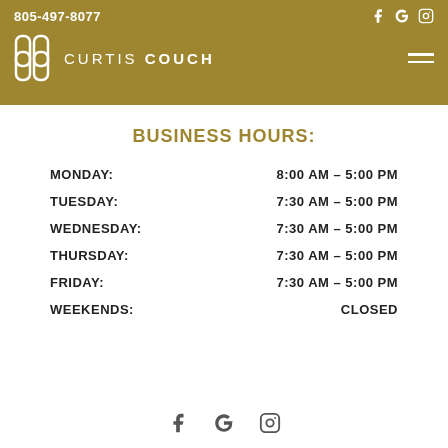805-497-8077 | CURTIS COUCH
BUSINESS HOURS:
MONDAY: 8:00 AM – 5:00 PM
TUESDAY: 7:30 AM – 5:00 PM
WEDNESDAY: 7:30 AM – 5:00 PM
THURSDAY: 7:30 AM – 5:00 PM
FRIDAY: 7:30 AM – 5:00 PM
WEEKENDS: CLOSED
Social media icons: Facebook, Google, Instagram